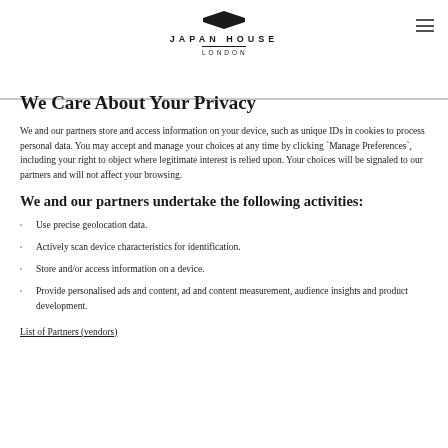JAPAN HOUSE LONDON
We Care About Your Privacy
We and our partners store and access information on your device, such as unique IDs in cookies to process personal data. You may accept and manage your choices at any time by clicking `Manage Preferences`, including your right to object where legitimate interest is relied upon. Your choices will be signaled to our partners and will not affect your browsing.
We and our partners undertake the following activities:
Use precise geolocation data.
Actively scan device characteristics for identification.
Store and/or access information on a device.
Provide personalised ads and content, ad and content measurement, audience insights and product development.
List of Partners (vendors)